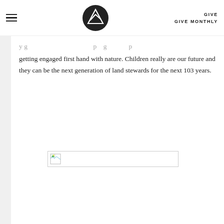GIVE | GIVE MONTHLY
getting engaged first hand with nature. Children really are our future and they can be the next generation of land stewards for the next 103 years.
[Figure (photo): A broken/unloaded image placeholder with a small icon in the top-left corner, shown as a bordered rectangle]